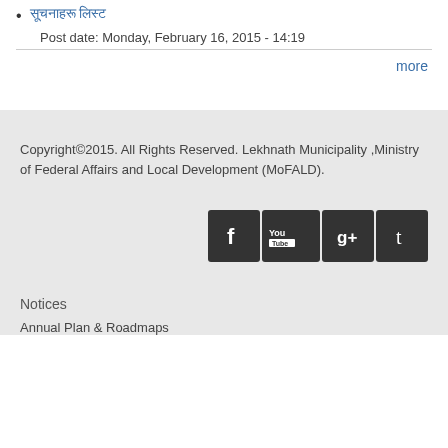सूचनाहरू लिस्ट
Post date: Monday, February 16, 2015 - 14:19
more
Copyright©2015. All Rights Reserved. Lekhnath Municipality ,Ministry of Federal Affairs and Local Development (MoFALD).
[Figure (other): Social media icons: Facebook, YouTube, Google+, Tumblr]
Notices
Annual Plan & Roadmaps